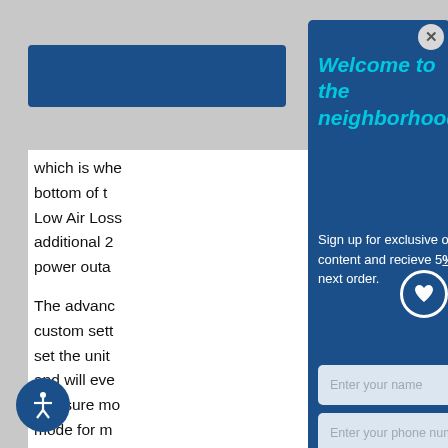[Figure (screenshot): Blue header bar visible on left side of page, partially cropped]
which is whe bottom of t Low Air Loss additional 2 power outa
The advanc custom sett set the unit and will eve pressure mo mode for m ver stretc resistant, va
Welcome to the neighborhood.
Sign up for exclusive offers and content and recieve 5% OFF your next order.
Enter your name
Enter your phone number